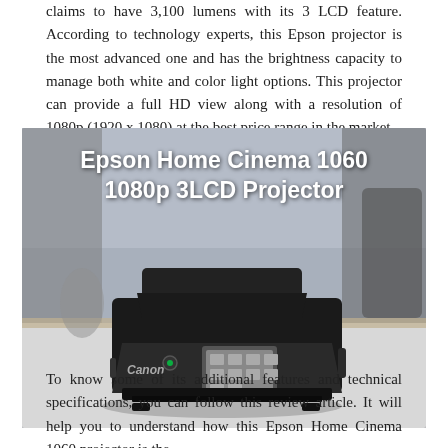claims to have 3,100 lumens with its 3 LCD feature. According to technology experts, this Epson projector is the most advanced one and has the brightness capacity to manage both white and color light options. This projector can provide a full HD view along with a resolution of 1080p (1920 x 1080) at the best price range in the market.
[Figure (photo): Product image with bold white text overlay reading 'Epson Home Cinema 1060 1080p 3LCD Projector' on a dark background showing a Canon printer/multifunction device on a desk in a blurred office setting.]
To know some of its additional features and technical specifications, you can follow this review article. It will help you to understand how this Epson Home Cinema 1060 projector is the